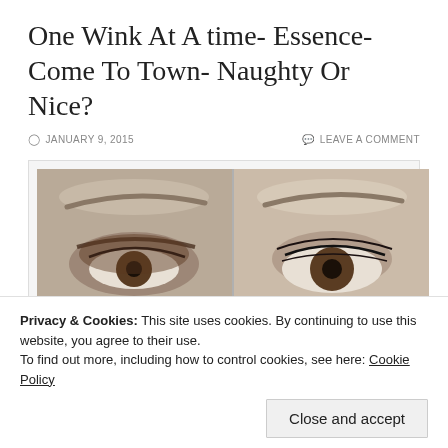One Wink At A time- Essence- Come To Town- Naughty Or Nice?
JANUARY 9, 2015    LEAVE A COMMENT
[Figure (photo): Beauty blog photo collage showing eye makeup looks and an eyeshadow palette. Left panel shows before/after eye close-ups with smoky eye makeup. Center-left shows text overlay: ONE WINK AT A TIME, Essence- Come to Town quattro eyeshadow: 02 NAUGHTY OR NICE?. Center shows swatches of champagne and purple eyeshadow. Right shows the eyeshadow compact with yellow, white, and nude shades. Photobucket watermark visible.]
Privacy & Cookies: This site uses cookies. By continuing to use this website, you agree to their use.
To find out more, including how to control cookies, see here: Cookie Policy
Close and accept